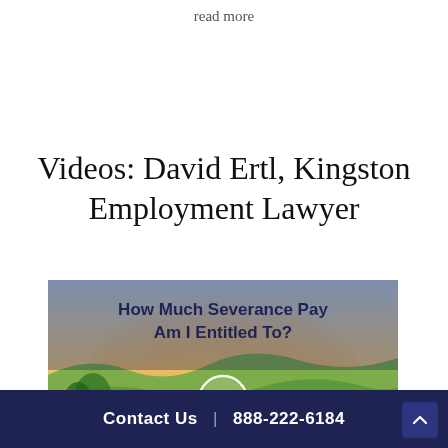read more
Videos: David Ertl, Kingston Employment Lawyer
[Figure (screenshot): Video thumbnail showing a scenic countryside landscape at sunset with text 'How Much Severance Pay Am I Entitled To?' in bold dark blue, and a white circular play button in the center.]
Contact Us | 888-222-6184